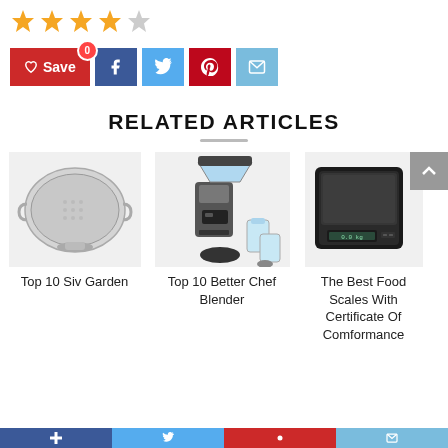[Figure (other): Star rating showing 4 out of 5 stars (4 gold stars, 1 grey star)]
[Figure (other): Social sharing buttons: Save (red with heart icon and badge 0), Facebook (blue), Twitter (light blue), Pinterest (red), Email (blue)]
RELATED ARTICLES
[Figure (photo): Photo of a stainless steel colander/strainer]
Top 10 Siv Garden
[Figure (photo): Photo of a Better Chef blender with cups and accessories]
Top 10 Better Chef Blender
[Figure (photo): Photo of a black digital food scale]
The Best Food Scales With Certificate Of Comformance